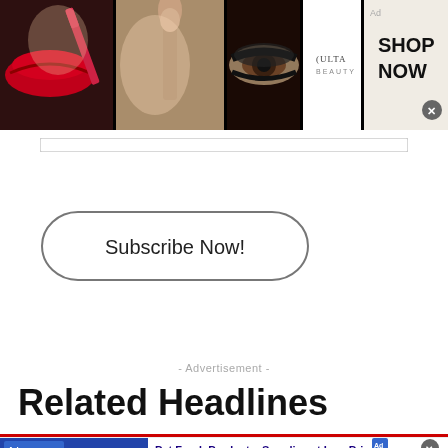[Figure (screenshot): Ulta Beauty banner advertisement showing makeup images (red lips, makeup brush, eye with dramatic makeup), Ulta Beauty logo, close-up of eyes with dramatic eyeliner, and 'SHOP NOW' button with close X]
[Figure (screenshot): Search bar input field]
[Figure (screenshot): Subscribe Now! button with rounded pill shape border]
- Advertisement -
Related Headlines
[Figure (screenshot): Chewy.com advertisement: Pet Food, Products, Supplies at Low Prices - Pay the lowest prices on pet supplies at Chewy.com. Shows product images and navigation arrow button.]